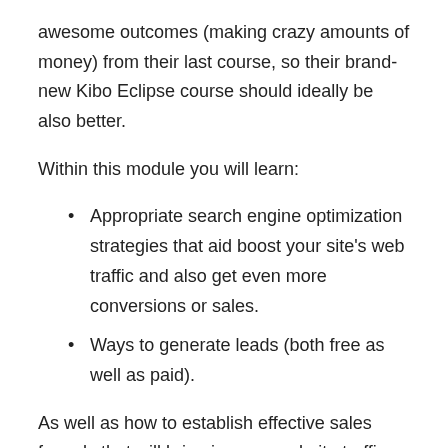awesome outcomes (making crazy amounts of money) from their last course, so their brand-new Kibo Eclipse course should ideally be also better.
Within this module you will learn:
Appropriate search engine optimization strategies that aid boost your site's web traffic and also get even more conversions or sales.
Ways to generate leads (both free as well as paid).
As well as how to establish effective sales funnels that will bring in more website traffic and also sales for you.
Module 6– Oracle X.
While lots of people enjoy the concept of selling products online, most do not put in the time to truly find out how to discover winning products. Because of this, they normally all fail to get the best results.